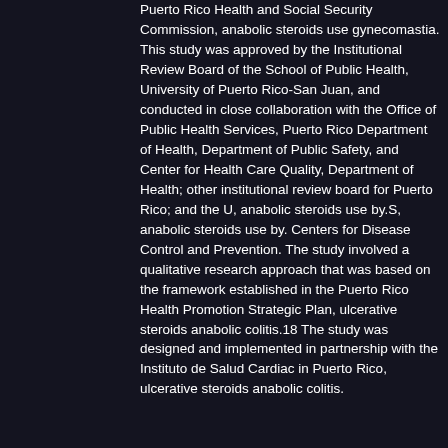Puerto Rico Health and Social Security Commission, anabolic steroids use gynecomastia. This study was approved by the Institutional Review Board of the School of Public Health, University of Puerto Rico-San Juan, and conducted in close collaboration with the Office of Public Health Services, Puerto Rico Department of Health, Department of Public Safety, and Center for Health Care Quality, Department of Health; other institutional review board for Puerto Rico; and the U, anabolic steroids use by.S, anabolic steroids use by. Centers for Disease Control and Prevention. The study involved a qualitative research approach that was based on the framework established in the Puerto Rico Health Promotion Strategic Plan, ulcerative steroids anabolic colitis.18 The study was designed and implemented in partnership with the Instituto de Salud Cardiac in Puerto Rico, ulcerative steroids anabolic colitis.